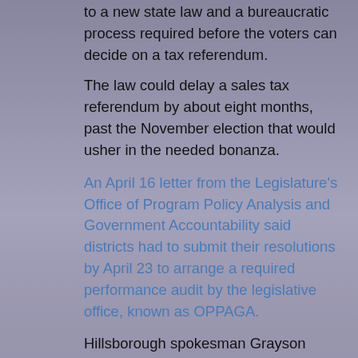to a new state law and a bureaucratic process required before the voters can decide on a tax referendum.
The law could delay a sales tax referendum by about eight months, past the November election that would usher in the needed bonanza.
An April 16 letter from the Legislature's Office of Program Policy Analysis and Government Accountability said districts had to submit their resolutions by April 23 to arrange a required performance audit by the legislative office, known as OPPAGA.
Hillsborough spokesman Grayson Kamm said that when district leaders contacted OPPAGA to arrange the audit, they were told there could be a six-month wait. And the results would have to be posted for two months before the referendum could take place.
OPPAGA contacted all counties and school boards in the